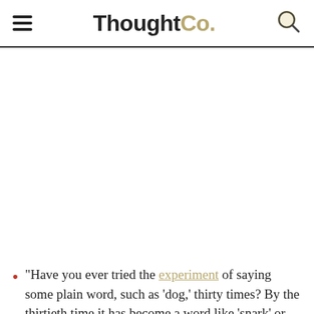ThoughtCo.
"Have you ever tried the experiment of saying some plain word, such as 'dog,' thirty times? By the thirtieth time it has become a word like 'snark' or 'nobble.' It does